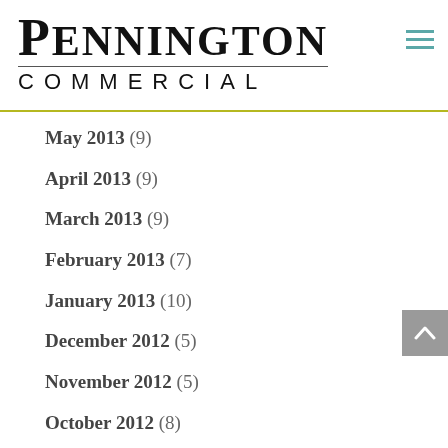[Figure (logo): Pennington Commercial logo — large serif text 'PENNINGTON' above smaller spaced sans-serif 'COMMERCIAL' with horizontal rule, and a hamburger menu icon top-right]
May 2013 (9)
April 2013 (9)
March 2013 (9)
February 2013 (7)
January 2013 (10)
December 2012 (5)
November 2012 (5)
October 2012 (8)
September 2012 (6)
August 2012 (5)
July 2012 (5)